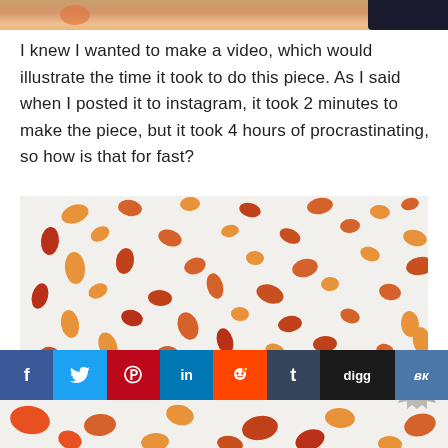[Figure (photo): Top edge of a photo showing a cat or animal fur with a dark object, cropped at top]
I knew I wanted to make a video, which would illustrate the time it took to do this piece. As I said when I posted it to instagram, it took 2 minutes to make the piece, but it took 4 hours of procrastinating, so how is that for fast?
[Figure (photo): Close-up photo of watercolor or painted leaf/petal shapes in red, orange, and dark orange scattered on white paper]
[Figure (other): Social sharing bar with buttons: Facebook (f), Twitter (bird), Pinterest (P), LinkedIn (in), Reddit (alien), Tumblr (t), Digg (digg), VK (VK)]
[Figure (photo): Bottom portion of painted leaf/petal shapes image continuing below social bar]